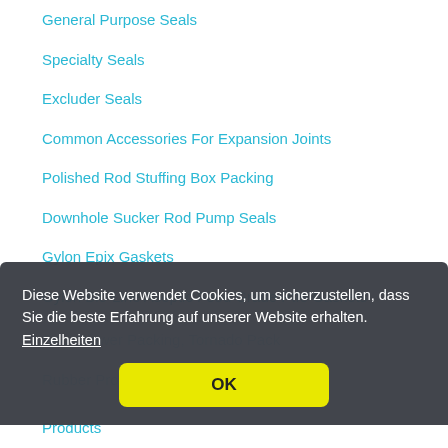General Purpose Seals
Specialty Seals
Excluder Seals
Common Accessories For Expansion Joints
Polished Rod Stuffing Box Packing
Downhole Sucker Rod Pump Seals
Gylon Epix Gaskets
Gylon Bio-Line Aseptic Food Grade Ptfe Gaskets
Spot Blower Packing, Tornado Pack
Rubber Products
Products
Diese Website verwendet Cookies, um sicherzustellen, dass Sie die beste Erfahrung auf unserer Website erhalten. Einzelheiten